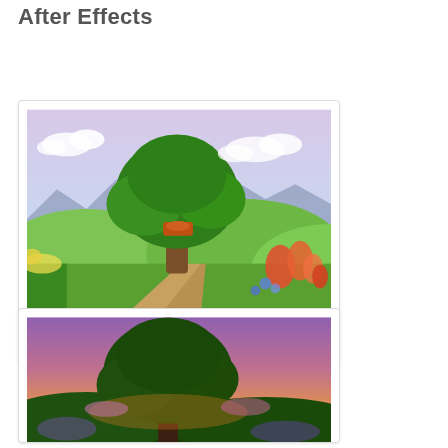After Effects
[Figure (illustration): Concept art showing a large tree house on rolling green hills with a winding dirt path, flowers, and a midday blue sky with white clouds and distant mountains.]
(above) - concept art showing start of sky (midday)
[Figure (illustration): Concept art showing the same tree at sunset/dusk with a purple and orange sky gradient, darker foliage, and clouds near the horizon.]